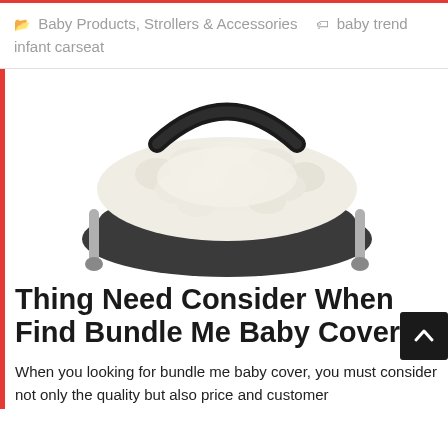Baby Products, Strollers & Accessories   baby trend infant carseat
[Figure (photo): A baby car seat infant carrier with a fluffy white sherpa/fleece bundle me cover insert, with a dark frame and handle, shown from above at an angle on a white background.]
Thing Need Consider When Find Bundle Me Baby Cover?
When you looking for bundle me baby cover, you must consider not only the quality but also price and customer